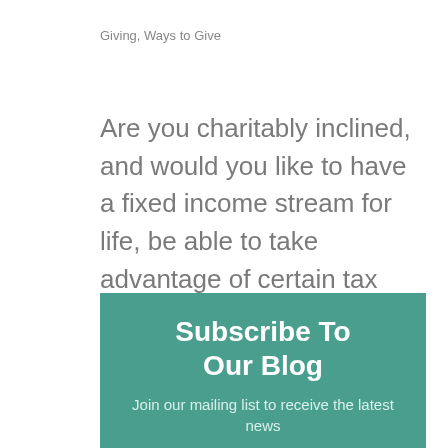Giving, Ways to Give
Are you charitably inclined, and would you like to have a fixed income stream for life, be able to take advantage of certain tax benefits, and continue to care for your community during your lifetime and beyond? Then a Charitable Gift Annuity (CGA) may be right for...
Subscribe To Our Blog
Join our mailing list to receive the latest news